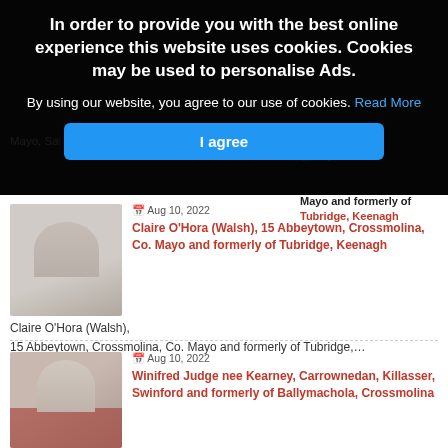In order to provide you with the best online experience this website uses cookies. Cookies may be used to personalise Ads.
By using our website, you agree to our use of cookies. Read More
I agree
Aug 10, 2022
Claire O'Hora (Walsh), 15 Abbeytown, Crossmolina, Co. Mayo and formerly of Tubridge, Keenagh
Claire O'Hora (Walsh),
15 Abbeytown, Crossmolina, Co. Mayo and formerly of Tubridge,…
Aug 10, 2022
Winifred Judge nee Kearney, Carrownedan, Killasser, Swinford and formerly of Ballymachola, Crossmolina